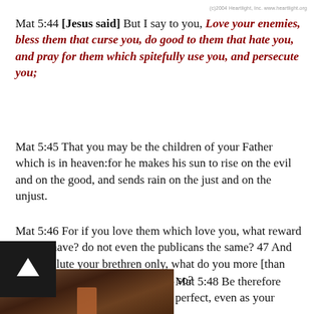(c)2004 Heartlight, Inc. www.heartlight.org
Mat 5:44 [Jesus said] But I say to you, Love your enemies, bless them that curse you, do good to them that hate you, and pray for them which spitefully use you, and persecute you;
Mat 5:45 That you may be the children of your Father which is in heaven:for he makes his sun to rise on the evil and on the good, and sends rain on the just and on the unjust.
Mat 5:46 For if you love them which love you, what reward do you have? do not even the publicans the same? 47 And if you salute your brethren only, what do you more [than others]? Don’t even the publicans so?
[Figure (photo): Dark brown wooden background photo, partially visible at bottom left]
Mat 5:48 Be therefore perfect, even as your